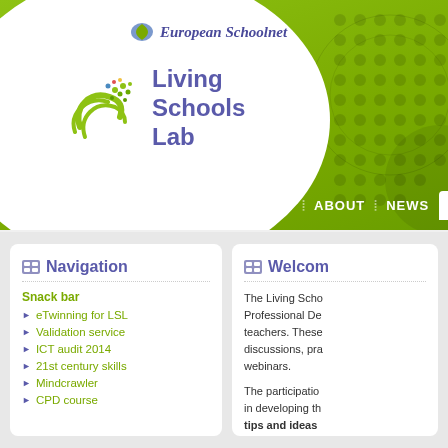[Figure (screenshot): European Schoolnet / Living Schools Lab website header with green background, logo, and navigation bar showing HOME, ABOUT, NEWS, SNACK]
European Schoolnet — Living Schools Lab
Navigation
Snack bar
eTwinning for LSL
Validation service
ICT audit 2014
21st century skills
Mindcrawler
CPD course
Welcome
The Living Schools Professional Development teachers. These discussions, practical webinars.
The participation in developing the tips and ideas